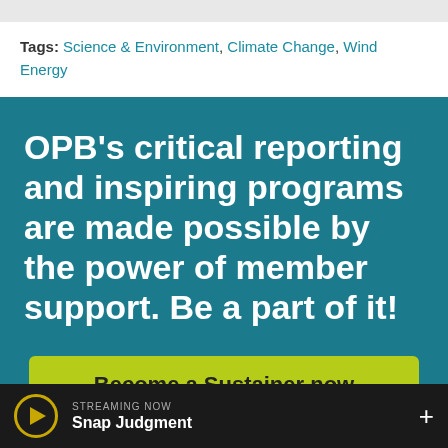Tags: Science & Environment, Climate Change, Wind Energy
OPB's critical reporting and inspiring programs are made possible by the power of member support. Be a part of it!
Become a Sustainer now
STREAMING NOW Snap Judgment